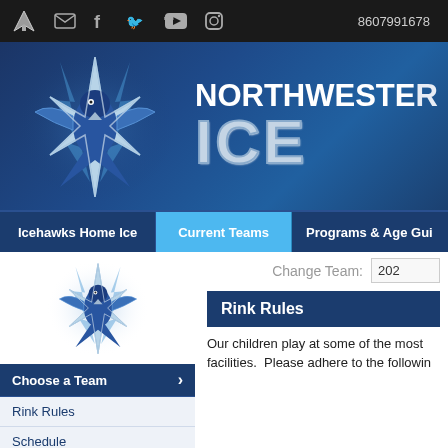8607991678
[Figure (logo): Northwestern Icehawks logo in hero banner - stylized hawk/lightning bolt emblem in blue, white and silver]
NORTHWESTERN ICE
Icehawks Home Ice | Current Teams | Programs & Age Gui...
[Figure (logo): Northwestern Icehawks logo in sidebar - stylized hawk/lightning bolt emblem in blue, white and silver, smaller version]
Change Team: 202...
Rink Rules
Choose a Team
Rink Rules
Schedule
Our children play at some of the most facilities.  Please adhere to the followin...